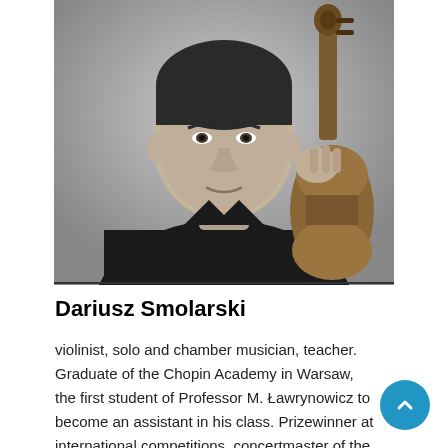[Figure (photo): Black and white photograph of Dariusz Smolarski, a man in a dark polo shirt holding a violin, cropped from the shoulders up]
Dariusz Smolarski
violinist, solo and chamber musician, teacher. Graduate of the Chopin Academy in Warsaw, the first student of Professor M. Ławrynowicz to become an assistant in his class. Prizewinner at international competitions, concertmaster of the Symphony Orchestra in Płock. Teaches the violin at the music school in Płock.